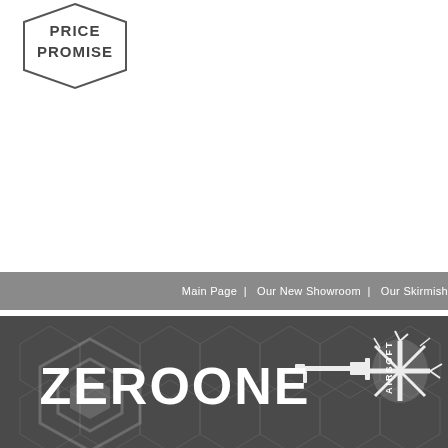[Figure (logo): Price Promise hexagonal badge/logo with text PRICE PROMISE in dark grey bold capitals]
[Figure (screenshot): Navigation bar with grey background showing links: Main Page | Our New Showroom | Our Skirmish]
[Figure (logo): Zero One Airsoft logo banner on dark grey hexagon-patterned background with large ZEROONE text, airsoft rifle graphic, and UK flag splatter graphic]